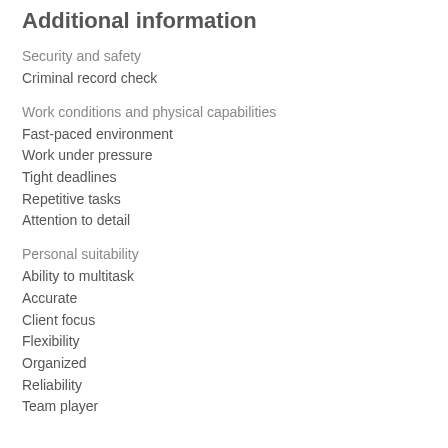Additional information
Security and safety
Criminal record check
Work conditions and physical capabilities
Fast-paced environment
Work under pressure
Tight deadlines
Repetitive tasks
Attention to detail
Personal suitability
Ability to multitask
Accurate
Client focus
Flexibility
Organized
Reliability
Team player